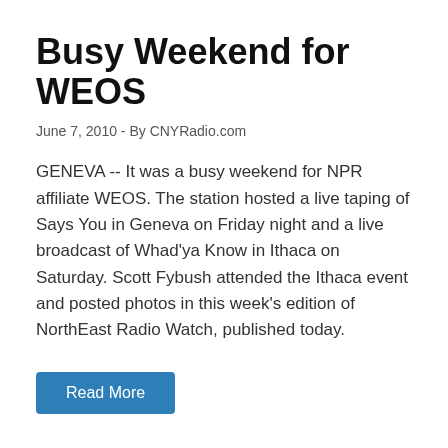Busy Weekend for WEOS
June 7, 2010 - By CNYRadio.com
GENEVA -- It was a busy weekend for NPR affiliate WEOS. The station hosted a live taping of Says You in Geneva on Friday night and a live broadcast of Whad'ya Know in Ithaca on Saturday. Scott Fybush attended the Ithaca event and posted photos in this week's edition of NorthEast Radio Watch, published today.
Read More